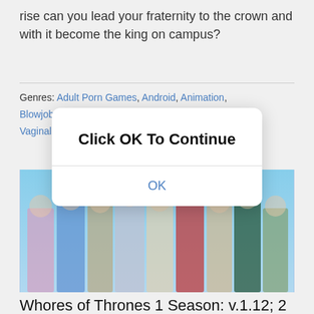rise can you lead your fraternity to the crown and with it become the king on campus?
Genres: Adult Porn Games, Android, Animation, Blowjob, Footjob, Male, Oral Sex, Romance, School, Vaginal, Voyeurism
[Figure (photo): Group of animated female characters standing together in various colorful outfits against a blue sky background]
Whores of Thrones 1 Season: v.1.12; 2 Season: Ep.6.1p Adult Porn
[Figure (screenshot): Modal dialog box with bold text 'Click OK To Continue' and an OK button in blue text]